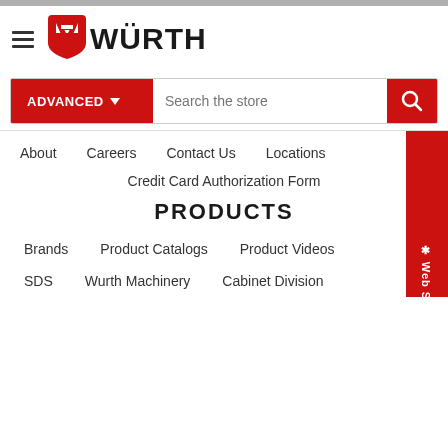[Figure (logo): Würth logo with hamburger menu icon and red stylized W shield icon followed by WÜRTH bold text]
ADVANCED ▼   Search the store   🔍
About   Careers   Contact Us   Locations
Credit Card Authorization Form
PRODUCTS
Brands   Product Catalogs   Product Videos
SDS   Wurth Machinery   Cabinet Division